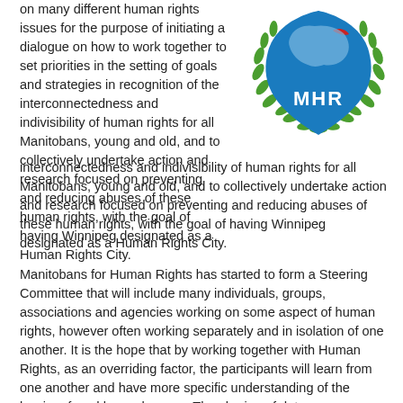on many different human rights issues for the purpose of initiating a dialogue on how to work together to set priorities in the setting of goals and strategies in recognition of the interconnectedness and indivisibility of human rights for all Manitobans, young and old, and to collectively undertake action and research focused on preventing and reducing abuses of these human rights, with the goal of having Winnipeg designated as a Human Rights City.
[Figure (logo): Manitobans for Human Rights (MHR) logo — a blue shield with a map silhouette and 'MHR' text in white, surrounded by green laurel branches]
Manitobans for Human Rights has started to form a Steering Committee that will include many individuals, groups, associations and agencies working on some aspect of human rights, however often working separately and in isolation of one another. It is the hope that by working together with Human Rights, as an overriding factor, the participants will learn from one another and have more specific understanding of the barriers faced by each group. The sharing of data, resources, issues and stories will hopefully underline the interconnectedness and indivisibility